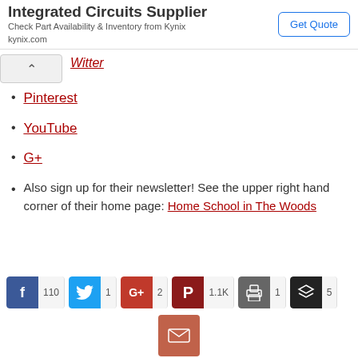[Figure (screenshot): Advertisement banner: Integrated Circuits Supplier - Check Part Availability & Inventory from Kynix, kynix.com, with Get Quote button]
Twitter (partially visible link)
Pinterest
YouTube
G+
Also sign up for their newsletter! See the upper right hand corner of their home page: Home School in The Woods
[Figure (screenshot): Social sharing buttons: Facebook (110), Twitter (1), G+ (2), Pinterest (1.1K), Print (1), Layers (5), Email]